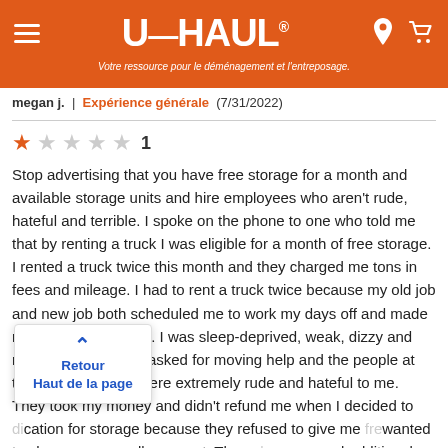U-HAUL® Votre ressource pour le déménagement et l'entreposage.
megan j.  |  Expérience générale  (7/31/2022)
★☆☆☆☆ 1
Stop advertising that you have free storage for a month and available storage units and hire employees who aren't rude, hateful and terrible. I spoke on the phone to one who told me that by renting a truck I was eligible for a month of free storage. I rented a truck twice this month and they charged me tons in fees and mileage. I had to rent a truck twice because my old job and new job both scheduled me to work my days off and made my move a living hell. I was sleep-deprived, weak, dizzy and not doing so good. I asked for moving help and the people at this Uhaul location were extremely rude and hateful to me. They took my money and didn't refund me when I decided to [use a different lo]cation for storage because they refused to give me [free storage and] wanted to charge an ungodly amount. They [also charged ]me several additional days on the truck. And they told me they had available storage units then told me no there were
Retour
Haut de la page